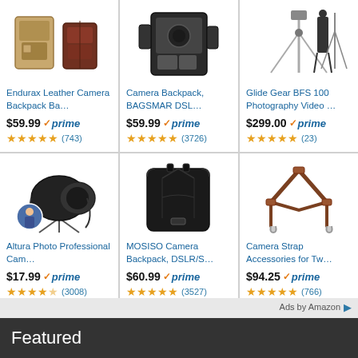[Figure (screenshot): Amazon product grid showing 6 camera accessories with titles, prices, Prime badges, and star ratings]
Ads by Amazon
Featured